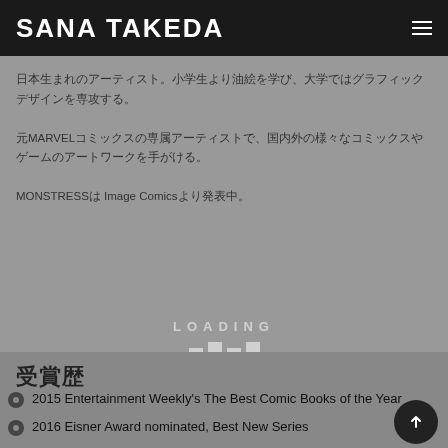SANA TAKEDA
[Figure (screenshot): Loading screen with Japanese text about MARVEL and MONSTRESS, showing loading bars indicator]
受賞歴
2015 Entertainment Weekly's The Best Comic Books of the Year
2016 Eisner Award nominated, Best New Series
2016 Entertainment Weekly's The Best Comic Books of the Year